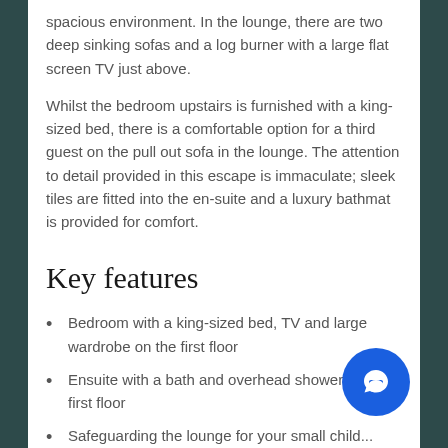spacious environment. In the lounge, there are two deep sinking sofas and a log burner with a large flat screen TV just above.
Whilst the bedroom upstairs is furnished with a king-sized bed, there is a comfortable option for a third guest on the pull out sofa in the lounge. The attention to detail provided in this escape is immaculate; sleek tiles are fitted into the en-suite and a luxury bathmat is provided for comfort.
Key features
Bedroom with a king-sized bed, TV and large wardrobe on the first floor
Ensuite with a bath and overhead shower on the first floor
Safeguarding the lounge for your small child...